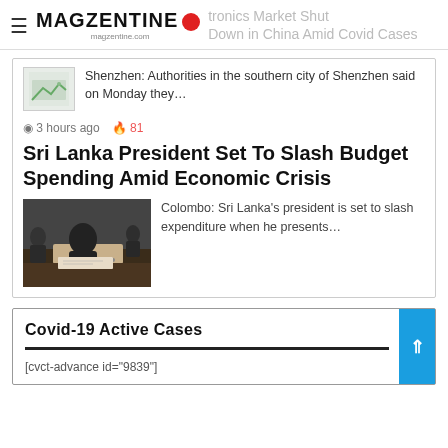MAGZENTINE magzentine.com — tronics Market Shut Down in China Amid Covid Cases
Shenzhen: Authorities in the southern city of Shenzhen said on Monday they…
🕐 3 hours ago 🔥 81
Sri Lanka President Set To Slash Budget Spending Amid Economic Crisis
Colombo: Sri Lanka's president is set to slash expenditure when he presents…
Covid-19 Active Cases
[cvct-advance id="9839"]